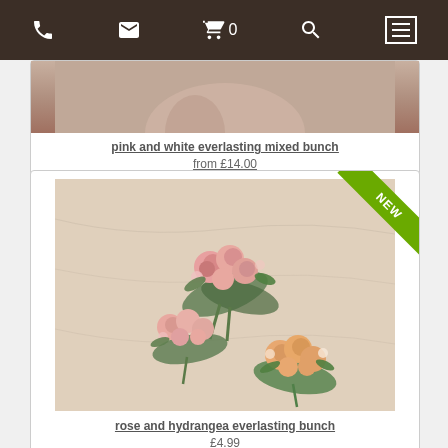Navigation bar with phone, email, cart (0), search, and menu icons
[Figure (photo): Partial view of pink and white everlasting mixed bunch flower arrangement]
pink and white everlasting mixed bunch
from £14.00
[Figure (photo): Rose and hydrangea everlasting bunch — three small bouquets with pink and peach roses and greenery on a beige fabric background. NEW badge in top-right corner.]
rose and hydrangea everlasting bunch
£4.99